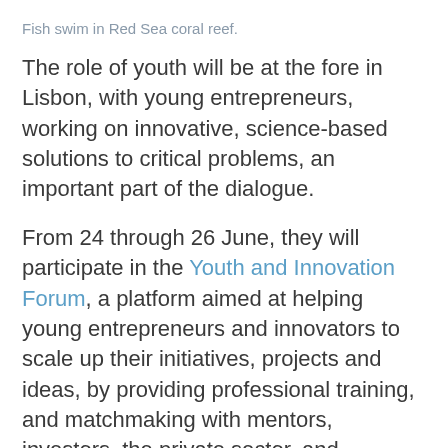Fish swim in Red Sea coral reef.
The role of youth will be at the fore in Lisbon, with young entrepreneurs, working on innovative, science-based solutions to critical problems, an important part of the dialogue.
From 24 through 26 June, they will participate in the Youth and Innovation Forum, a platform aimed at helping young entrepreneurs and innovators to scale up their initiatives, projects and ideas, by providing professional training, and matchmaking with mentors, investors, the private sector, and government officials.
The forum will also include an “Innovathon,”